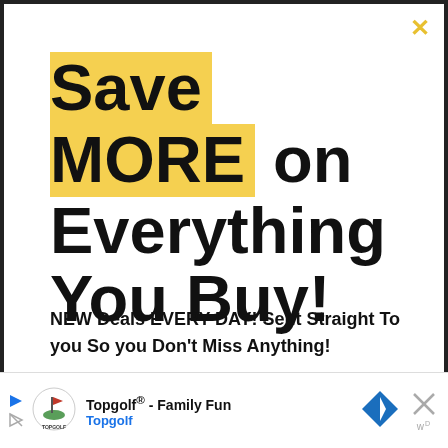Save MORE on Everything You Buy!
NEW Deals EVERY DAY! Sent Straight To you So you Don't Miss Anything!
[Figure (infographic): Advertisement banner for Topgolf showing Topgolf logo, text 'Topgolf® - Family Fun' and 'Topgolf', a navigation/directions icon, and a close button]